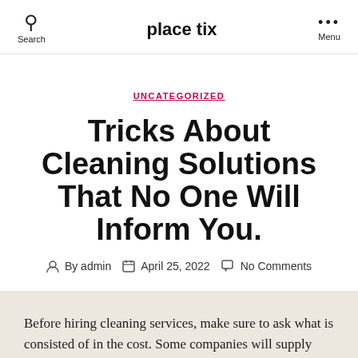Search | place tix | Menu
UNCATEGORIZED
Tricks About Cleaning Solutions That No One Will Inform You.
By admin   April 25, 2022   No Comments
Before hiring cleaning services, make sure to ask what is consisted of in the cost. Some companies will supply